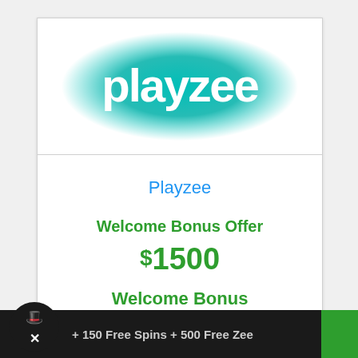[Figure (logo): Playzee casino logo — white rounded text 'playzee' on a teal/turquoise glowing oval background]
Playzee
Welcome Bonus Offer
$1500
Welcome Bonus
+ 150 Free Spins + 500 Free Zee